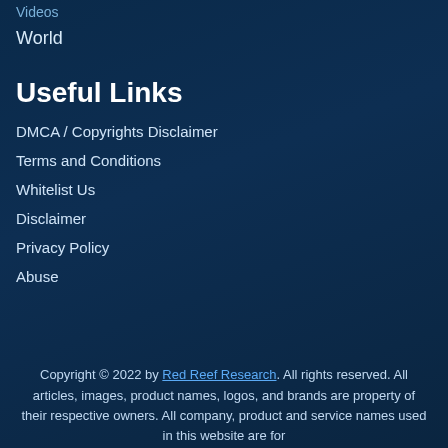Videos
World
Useful Links
DMCA / Copyrights Disclaimer
Terms and Conditions
Whitelist Us
Disclaimer
Privacy Policy
Abuse
Copyright © 2022 by Red Reef Research. All rights reserved. All articles, images, product names, logos, and brands are property of their respective owners. All company, product and service names used in this website are for